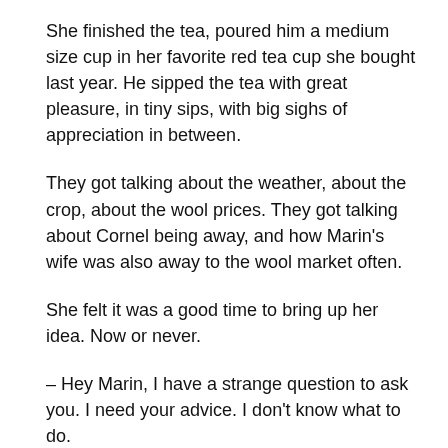She finished the tea, poured him a medium size cup in her favorite red tea cup she bought last year. He sipped the tea with great pleasure, in tiny sips, with big sighs of appreciation in between.
They got talking about the weather, about the crop, about the wool prices. They got talking about Cornel being away, and how Marin's wife was also away to the wool market often.
She felt it was a good time to bring up her idea. Now or never.
– Hey Marin, I have a strange question to ask you. I need your advice. I don't know what to do.
– Well let's see. I won't know unless you ask.
– Well… Cornel has been gone for a week now and he'll be gone until Friday. It's rainy out, and I'm going crazy here…